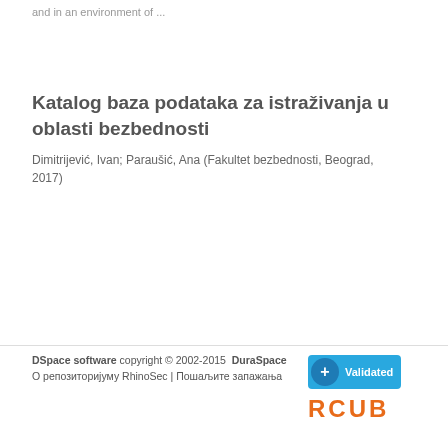and in an environment of ...
Katalog baza podataka za istraživanja u oblasti bezbednosti
Dimitrijević, Ivan; Paraušić, Ana (Fakultet bezbednosti, Beograd, 2017)
← 1 ... 15 →
DSpace software copyright © 2002-2015  DuraSpace
О репозиторијуму RhinoSec | Пошаљите запажања
[Figure (logo): Validated badge with blue background and RCUB logo in orange dotted letters]